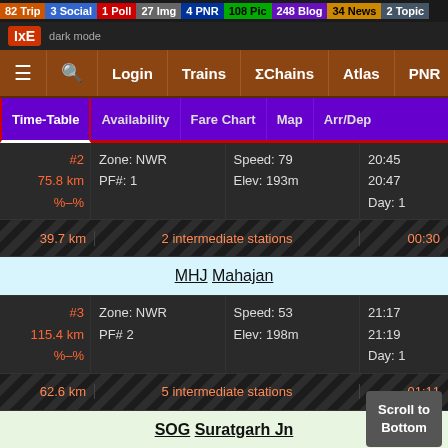82 Trip  3 Social  1 Poll  27 Img  4 PNR  108 Pic  248 Blog  34 News  2 Topic
Time-Table | Availability | Fare Chart | Map | Arr/Dep
| # | Zone/PF | Speed/Elev | Times |
| --- | --- | --- | --- |
| #2 75.8 km %–% | Zone: NWR  PF#: 1 | Speed: 79  Elev: 193m | 20:45  20:47  Day: 1 |
| 39.7 km | 2 intermediate stations |  | 00:30 |
| MHJ Mahajan |  |  |  |
| #3 115.4 km %–% | Zone: NWR  PF# 2 | Speed: 53  Elev: 198m | 21:17  21:19  Day: 1 |
| 62.6 km | 5 intermediate stations |  | 01:11 |
| SOG Suratgarh Jn |  |  |  |
| #4 178.1 km /–/ | Zone: NWR  PF# 3,4 | Speed: 53  Elev: 173m | 22:??  25:??  D |